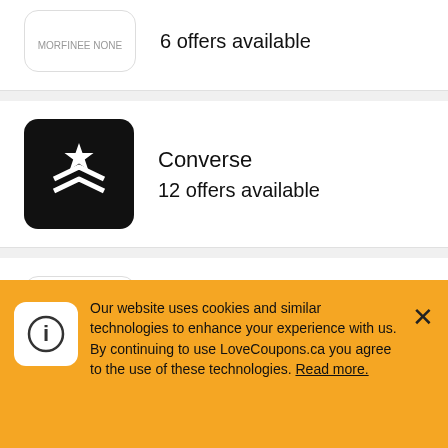[Figure (logo): Partial brand logo at top, cut off]
6 offers available
[Figure (logo): Converse logo — black square with white star and chevron arrow]
Converse
12 offers available
[Figure (logo): PrettyLittleThing logo — white box with black text PRETTYLITTLETHING]
PrettyLittleThing
7 offers available
[Figure (logo): ASICS logo — dark navy blue square with white ASICS wordmark and swoosh]
ASICS
8 offers available
Our website uses cookies and similar technologies to enhance your experience with us. By continuing to use LoveCoupons.ca you agree to the use of these technologies. Read more.